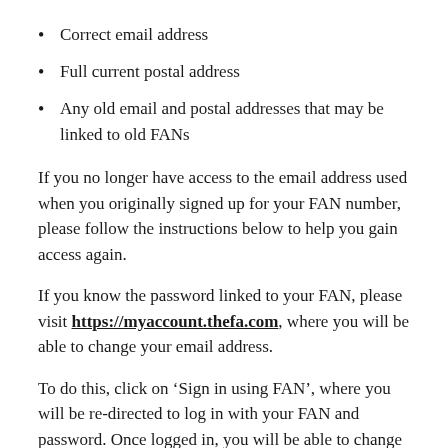Correct email address
Full current postal address
Any old email and postal addresses that may be linked to old FANs
If you no longer have access to the email address used when you originally signed up for your FAN number, please follow the instructions below to help you gain access again.
If you know the password linked to your FAN, please visit https://myaccount.thefa.com, where you will be able to change your email address.
To do this, click on ‘Sign in using FAN’, where you will be re-directed to log in with your FAN and password. Once logged in, you will be able to change your email